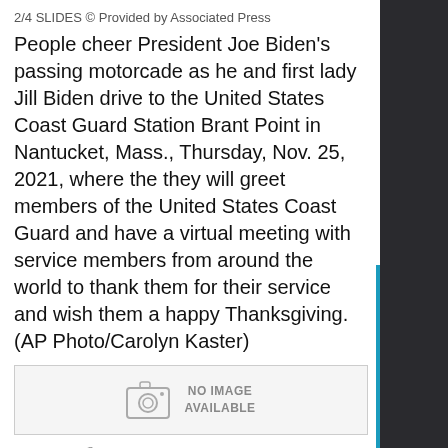2/4 SLIDES © Provided by Associated Press
People cheer President Joe Biden's passing motorcade as he and first lady Jill Biden drive to the United States Coast Guard Station Brant Point in Nantucket, Mass., Thursday, Nov. 25, 2021, where the they will greet members of the United States Coast Guard and have a virtual meeting with service members from around the world to thank them for their service and wish them a happy Thanksgiving. (AP Photo/Carolyn Kaster)
[Figure (photo): No image available placeholder with camera icon]
3/4 SLIDES © Provided by Associated Press
Biden
[Figure (photo): No image available placeholder with camera icon]
4/4 SLIDES © Provided by Associated Press
People watch President Joe Biden's passing motorcade as he and first lady Jill Biden drive to the United States Coast Guard Station Brant Point in Nantucket, Mass., Thursday,